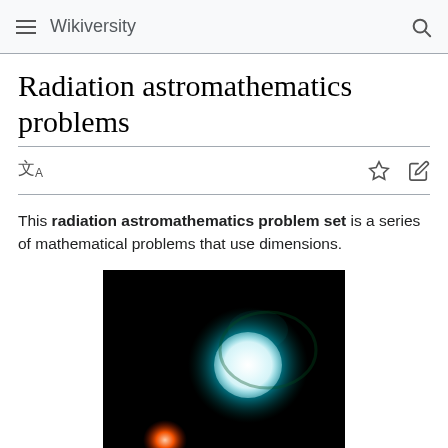Wikiversity
Radiation astromathematics problems
This radiation astromathematics problem set is a series of mathematical problems that use dimensions.
[Figure (photo): Astronomical image on black background showing a bright white-cyan glowing circular object (star or planet) surrounded by a cyan halo, and a smaller red-orange glowing body in the lower left, against a dark space background.]